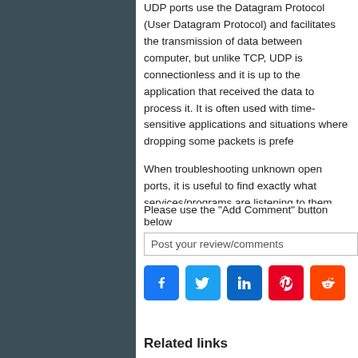UDP ports use the Datagram Protocol (User Datagram Protocol) and facilitates the transmission of data between computer, but unlike TCP, UDP is connectionless and it is up to the application that received the data to process it. It is often used with time-sensitive applications and situations where dropping some packets is preferred.
When troubleshooting unknown open ports, it is useful to find exactly what services/programs are listening to them. This can be accomplished, for example, by using the "netstat -aon" command. We encourage you to rule out the possibility of active malware and to just use our forums.
Please use the "Add Comment" button below
Post your review/comments
[Figure (other): Social sharing icons: Facebook, Twitter, LinkedIn, Pinterest, Reddit]
Related links